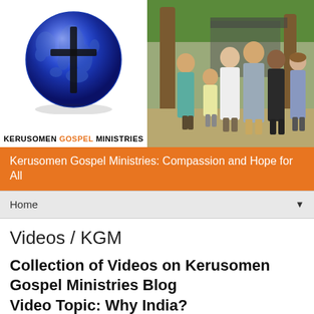[Figure (logo): Kerusomen Gospel Ministries logo: a globe with a cross overlay, with text 'KERUSOMEN GOSPEL MINISTRIES' below]
[Figure (photo): Group photo of several people including adults and a child standing outdoors in a tropical setting with trees and a structure in the background]
Kerusomen Gospel Ministries: Compassion and Hope for All
Home
Videos / KGM
Collection of Videos on Kerusomen Gospel Ministries Blog
Video Topic: Why India?